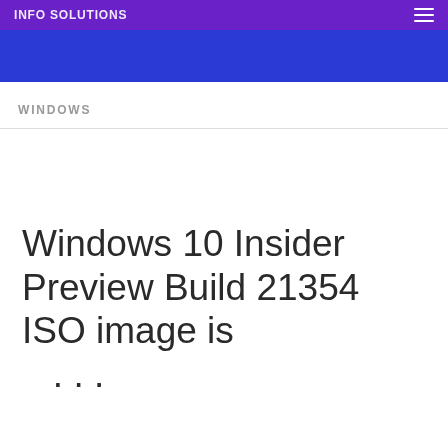INFO SOLUTIONS
WINDOWS
Windows 10 Insider Preview Build 21354 ISO image is ...